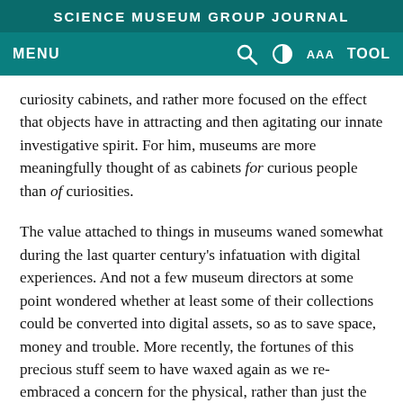SCIENCE MUSEUM GROUP JOURNAL
MENU  [search] [contrast] AAA  TOOL
curiosity cabinets, and rather more focused on the effect that objects have in attracting and then agitating our innate investigative spirit. For him, museums are more meaningfully thought of as cabinets for curious people than of curiosities.
The value attached to things in museums waned somewhat during the last quarter century's infatuation with digital experiences. And not a few museum directors at some point wondered whether at least some of their collections could be converted into digital assets, so as to save space, money and trouble. More recently, the fortunes of this precious stuff seem to have waxed again as we re-embraced a concern for the physical, rather than just the visible. A